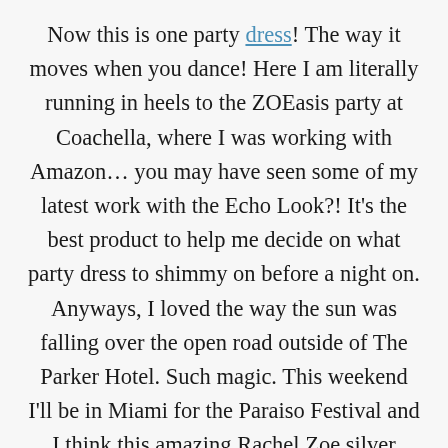Now this is one party dress! The way it moves when you dance! Here I am literally running in heels to the ZOEasis party at Coachella, where I was working with Amazon… you may have seen some of my latest work with the Echo Look?! It's the best product to help me decide on what party dress to shimmy on before a night on. Anyways, I loved the way the sun was falling over the open road outside of The Parker Hotel. Such magic. This weekend I'll be in Miami for the Paraiso Festival and I think this amazing Rachel Zoe silver beauty might be something I pack for something special out on South Beach. For some reason, this 1920's flapper dress reminds me of my